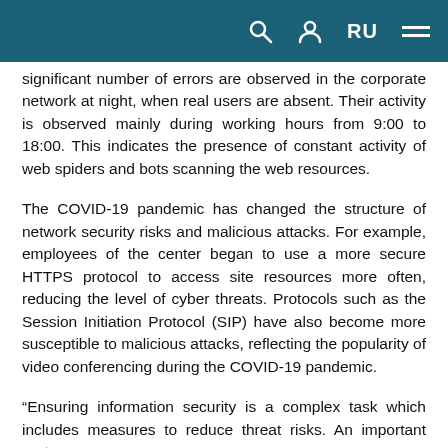RU [navigation icons]
significant number of errors are observed in the corporate network at night, when real users are absent. Their activity is observed mainly during working hours from 9:00 to 18:00. This indicates the presence of constant activity of web spiders and bots scanning the web resources.
The COVID-19 pandemic has changed the structure of network security risks and malicious attacks. For example, employees of the center began to use a more secure HTTPS protocol to access site resources more often, reducing the level of cyber threats. Protocols such as the Session Initiation Protocol (SIP) have also become more susceptible to malicious attacks, reflecting the popularity of video conferencing during the COVID-19 pandemic.
“Ensuring information security is a complex task which includes measures to reduce threat risks. An important part